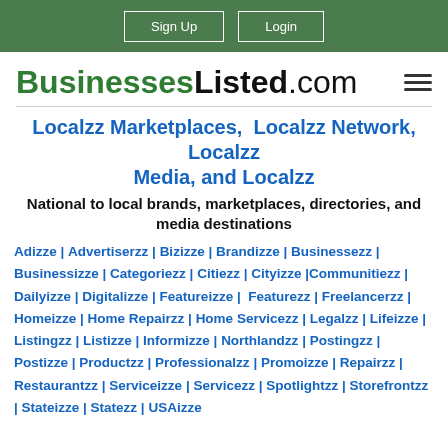Sign Up | Login
BusinessesListed.com
Localzz Marketplaces, Localzz Network, Localzz Media, and Localzz
National to local brands, marketplaces, directories, and media destinations
Adizze | Advertiserzz | Bizizze | Brandizze | Businessezz | Businessizze | Categoriezz | Citiezz | Cityizze | Communitiezz | Dailyizze | Digitalizze | Featureizze | Featurezz | Freelancerzz | Homeizze | Home Repairzz | Home Servicezz | Legalzz | Lifeizze | Listingzz | Listizze | Informizze | Northlandzz | Postingzz | Postizze | Productzz | Professionalzz | Promoizze | Repairzz | Restaurantzz | Serviceizze | Servicezz | Spotlightzz | Storefrontzz | Stateizze | Statezz | USAizze